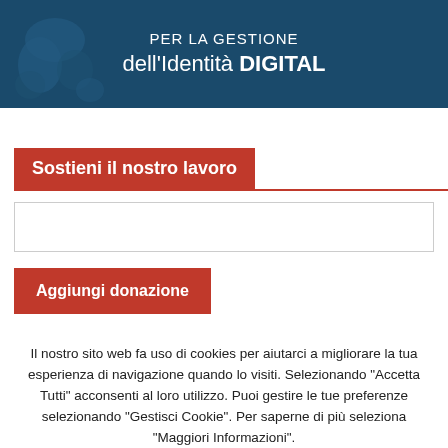[Figure (illustration): Banner with dark blue background, world map silhouette on left, Italian text 'PER LA GESTIONE dell'Identità DIGITAL' in white with DIGITAL in bold]
Sostieni il nostro lavoro
[Figure (screenshot): Empty text input field for donation amount]
Aggiungi donazione
Il nostro sito web fa uso di cookies per aiutarci a migliorare la tua esperienza di navigazione quando lo visiti. Selezionando "Accetta Tutti" acconsenti al loro utilizzo. Puoi gestire le tue preferenze selezionando "Gestisci Cookie". Per saperne di più seleziona "Maggiori Informazioni".
Accetta Tutti
Gestisci Cookie
Maggiori Informazioni